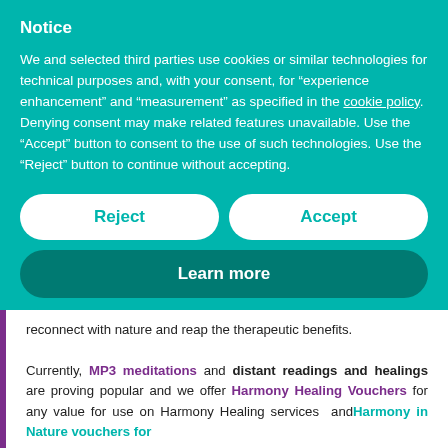Notice
We and selected third parties use cookies or similar technologies for technical purposes and, with your consent, for “experience enhancement” and “measurement” as specified in the cookie policy. Denying consent may make related features unavailable. Use the “Accept” button to consent to the use of such technologies. Use the “Reject” button to continue without accepting.
Reject
Accept
Learn more
reconnect with nature and reap the therapeutic benefits.

Currently, MP3 meditations and distant readings and healings are proving popular and we offer Harmony Healing Vouchers for any value for use on Harmony Healing services  andHarmony in Nature vouchers for